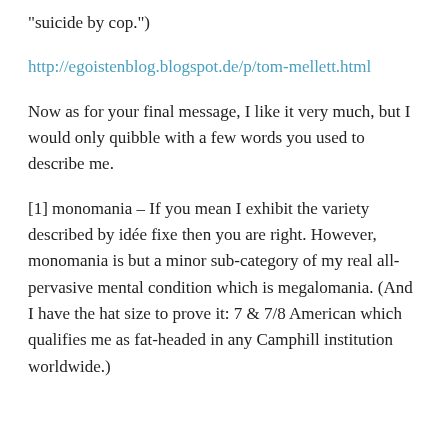“suicide by cop.”)
http://egoistenblog.blogspot.de/p/tom-mellett.html
Now as for your final message, I like it very much, but I would only quibble with a few words you used to describe me.
[1] monomania – If you mean I exhibit the variety described by idée fixe then you are right. However, monomania is but a minor sub-category of my real all-pervasive mental condition which is megalomania. (And I have the hat size to prove it: 7 & 7/8 American which qualifies me as fat-headed in any Camphill institution worldwide.)